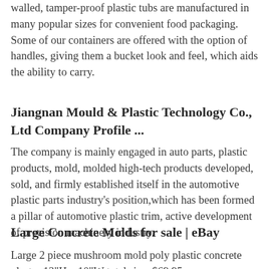walled, tamper-proof plastic tubs are manufactured in many popular sizes for convenient food packaging. Some of our containers are offered with the option of handles, giving them a bucket look and feel, which aids the ability to carry.
Jiangnan Mould & Plastic Technology Co., Ltd Company Profile ...
The company is mainly engaged in auto parts, plastic products, mold, molded high-tech products developed, sold, and firmly established itself in the automotive plastic parts industry's position,which has been formed a pillar of automotive plastic trim, active development of precision machinery industry.
Large Concrete Molds for sale | eBay
Large 2 piece mushroom mold poly plastic concrete plaster 13"H x 10"W total size. $69.95.
FOX MOLD...